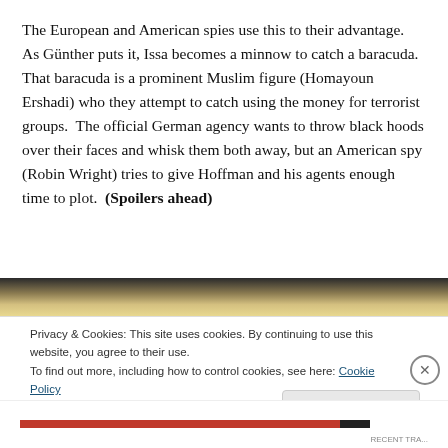The European and American spies use this to their advantage.  As Günther puts it, Issa becomes a minnow to catch a baracuda.  That baracuda is a prominent Muslim figure (Homayoun Ershadi) who they attempt to catch using the money for terrorist groups.  The official German agency wants to throw black hoods over their faces and whisk them both away, but an American spy (Robin Wright) tries to give Hoffman and his agents enough time to plot.  (Spoilers ahead)
[Figure (photo): Partial image strip at top of cookie consent overlay area]
Privacy & Cookies: This site uses cookies. By continuing to use this website, you agree to their use.
To find out more, including how to control cookies, see here: Cookie Policy